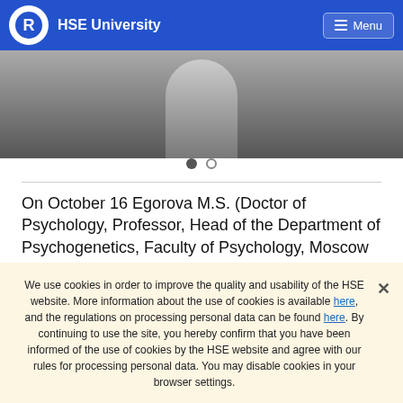HSE University
[Figure (photo): Grayscale photograph of a person, partially visible, dark background]
On October 16 Egorova M.S. (Doctor of Psychology, Professor, Head of the Department of Psychogenetics, Faculty of Psychology, Moscow State University) took part in the "Culture matters" research seminar with the report "Negative traits in modern studies of personality structure".
We use cookies in order to improve the quality and usability of the HSE website. More information about the use of cookies is available here, and the regulations on processing personal data can be found here. By continuing to use the site, you hereby confirm that you have been informed of the use of cookies by the HSE website and agree with our rules for processing personal data. You may disable cookies in your browser settings.